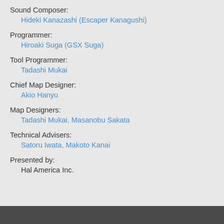Sound Composer:
Hideki Kanazashi (Escaper Kanagushi)
Programmer:
Hiroaki Suga (GSX Suga)
Tool Programmer:
Tadashi Mukai
Chief Map Designer:
Akio Hanyu
Map Designers:
Tadashi Mukai, Masanobu Sakata
Technical Advisers:
Satoru Iwata, Makoto Kanai
Presented by:
Hal America Inc.